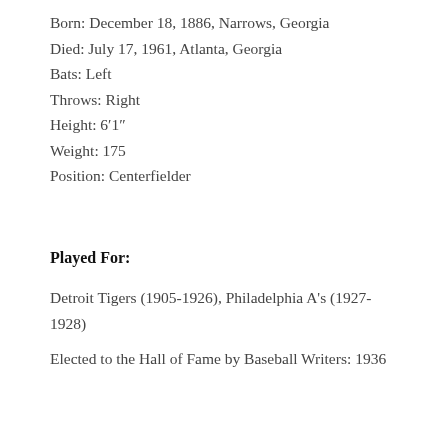Born: December 18, 1886, Narrows, Georgia
Died: July 17, 1961, Atlanta, Georgia
Bats: Left
Throws: Right
Height: 6′1″
Weight: 175
Position: Centerfielder
Played For:
Detroit Tigers (1905-1926), Philadelphia A's (1927-1928)
Elected to the Hall of Fame by Baseball Writers: 1936